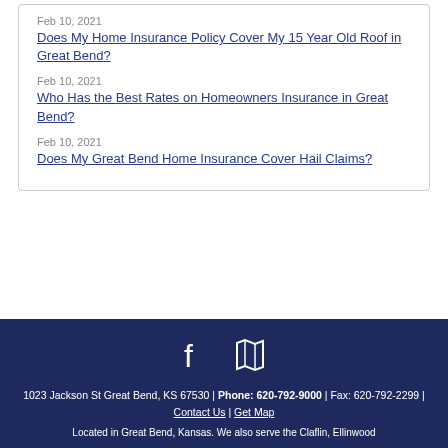Feb 10, 2021
Does My Home Insurance Policy Cover My 15 Year Old Roof in Great Bend?
Feb 10, 2021
Who Has the Best Rates on Homeowners Insurance in Great Bend?
Feb 10, 2021
Does My Great Bend Home Insurance Cover Hail Claims?
1023 Jackson St Great Bend, KS 67530 | Phone: 620-792-9000 | Fax: 620-792-2299 | Contact Us | Get Map
Located in Great Bend, Kansas. We also serve the Claflin, Ellinwood